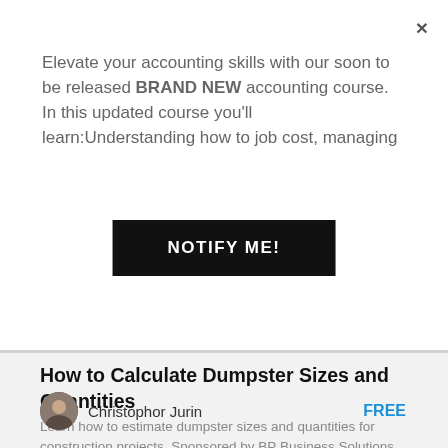Elevate your accounting skills with our soon to be released BRAND NEW accounting course. In this updated course you'll learn:Understanding how to job cost, managing
NOTIFY ME!
How to Calculate Dumpster Sizes and Quantities
Learn how to estimate dumpster sizes and quantities for construction projects. Sponsored by BP Business Solutions @ www.workwithbp.com
Christophor Jurin
FREE